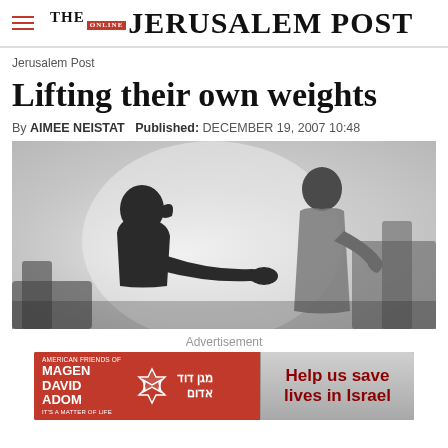THE JERUSALEM POST
Jerusalem Post
Lifting their own weights
By AIMEE NEISTAT  Published: DECEMBER 19, 2007 10:48
[Figure (photo): Two silhouetted figures in a gym setting, one seated and one standing, appearing to have a conversation near exercise equipment.]
Advertisement
[Figure (other): Advertisement banner for American Friends of Magen David Adom with red background and Star of David logo, with text 'Help us save lives in Israel' on grey button.]